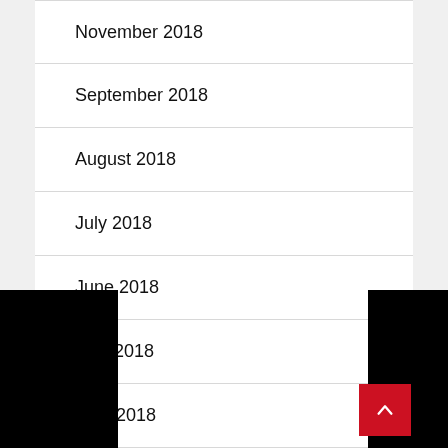November 2018
September 2018
August 2018
July 2018
June 2018
May 2018
April 2018
March 2018